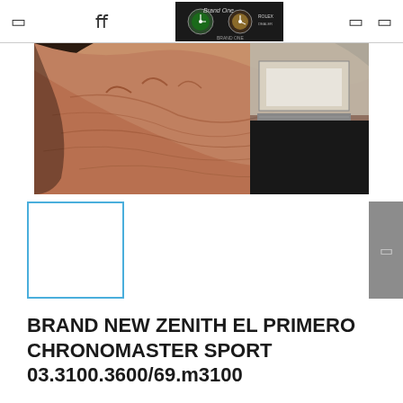Brand One watch dealer logo and navigation icons
[Figure (photo): Close-up photo of a person's wrist/hand with wrinkled skin, and a watch box or display case partially visible in the background]
[Figure (photo): Small thumbnail image placeholder with blue border outline, currently showing white/blank]
BRAND NEW ZENITH EL PRIMERO CHRONOMASTER SPORT 03.3100.3600/69.m3100